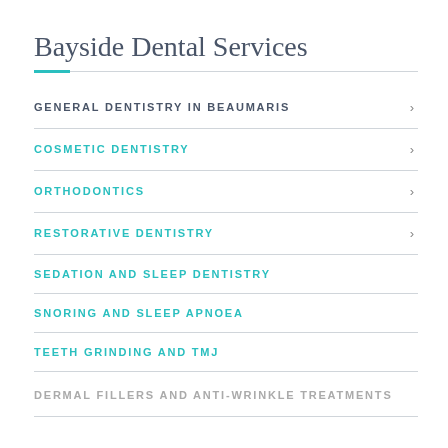Bayside Dental Services
GENERAL DENTISTRY IN BEAUMARIS
COSMETIC DENTISTRY
ORTHODONTICS
RESTORATIVE DENTISTRY
SEDATION AND SLEEP DENTISTRY
SNORING AND SLEEP APNOEA
TEETH GRINDING AND TMJ
DERMAL FILLERS AND ANTI-WRINKLE TREATMENTS